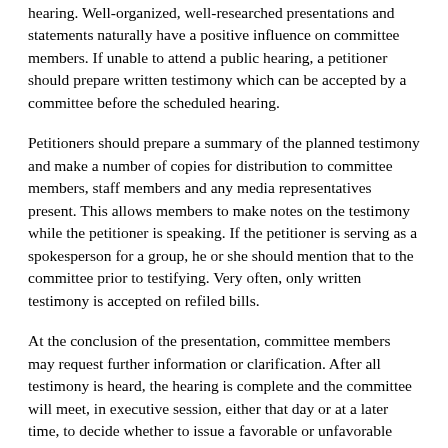A petitioner should be well-prepared before testifying at a public hearing. Well-organized, well-researched presentations and statements naturally have a positive influence on committee members. If unable to attend a public hearing, a petitioner should prepare written testimony which can be accepted by a committee before the scheduled hearing.
Petitioners should prepare a summary of the planned testimony and make a number of copies for distribution to committee members, staff members and any media representatives present. This allows members to make notes on the testimony while the petitioner is speaking. If the petitioner is serving as a spokesperson for a group, he or she should mention that to the committee prior to testifying. Very often, only written testimony is accepted on refiled bills.
At the conclusion of the presentation, committee members may request further information or clarification. After all testimony is heard, the hearing is complete and the committee will meet, in executive session, either that day or at a later time, to decide whether to issue a favorable or unfavorable report.